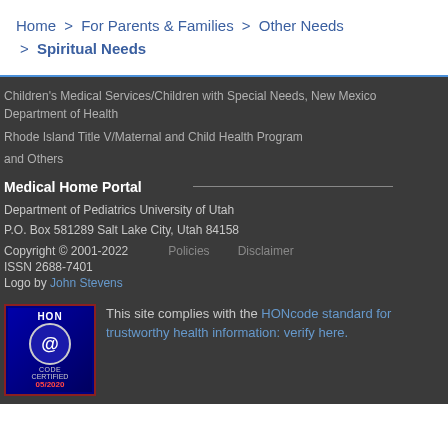Home > For Parents & Families > Other Needs > Spiritual Needs
Children's Medical Services/Children with Special Needs, New Mexico Department of Health
Rhode Island Title V/Maternal and Child Health Program
and Others
Medical Home Portal
Department of Pediatrics University of Utah
P.O. Box 581289 Salt Lake City, Utah 84158
Copyright © 2001-2022    Policies    Disclaimer
ISSN 2688-7401
Logo by John Stevens
This site complies with the HONcode standard for trustworthy health information: verify here.